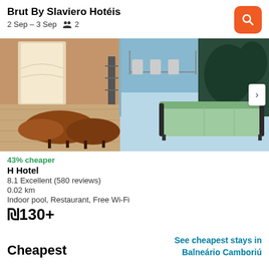Brut By Slaviero Hotéis
2 Sep – 3 Sep   👥 2
[Figure (photo): Hotel lobby interior with brown leather ottoman seats, a green sofa, wooden flooring, and glass windows showing restaurant area]
43% cheaper
H Hotel
8.1 Excellent (580 reviews)
0.02 km
Indoor pool, Restaurant, Free Wi-Fi
₪130+
Cheapest
See cheapest stays in Balneário Camboriú